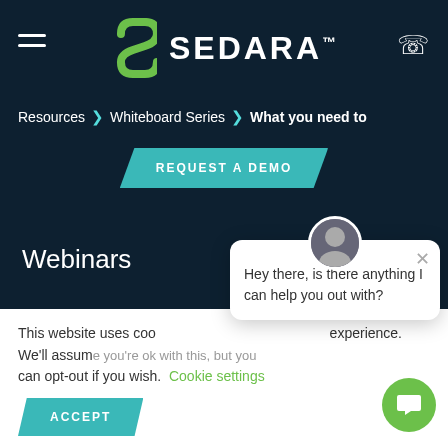[Figure (logo): Sedara logo with green S icon and SEDARA text in white with TM mark]
Resources > Whiteboard Series > What you need to
REQUEST A DEMO
Webinars
About Us
Careers
This website uses coo experience. We'll assume you're ok with this, but you can opt-out if you wish. Cookie settings
ACCEPT
Hey there, is there anything I can help you out with?